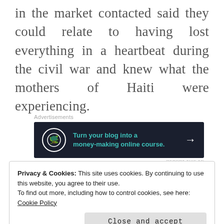in the market contacted said they could relate to having lost everything in a heartbeat during the civil war and knew what the mothers of Haiti were experiencing.
[Figure (other): Advertisement banner with dark background showing 'Turn your blog into a money-making online course.' with a bonsai tree icon and arrow]
Privacy & Cookies: This site uses cookies. By continuing to use this website, you agree to their use.
To find out more, including how to control cookies, see here:
Cookie Policy
Close and accept